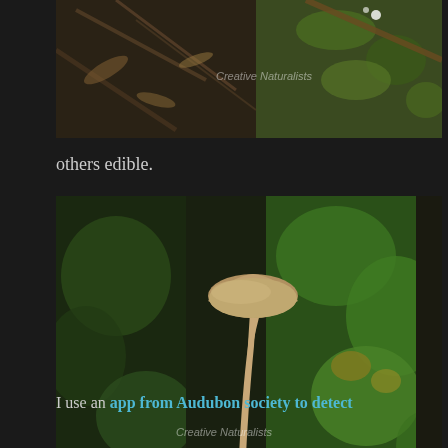[Figure (photo): Top portion of a nature photo showing forest floor with dry leaves, twigs, and green moss with a watermark 'Creative Naturalists']
others edible.
[Figure (photo): A single beige/tan mushroom with a round cap growing from moss-covered ground in a lush green forest setting. Watermark 'Creative Naturalists' visible at bottom.]
I use an app from Audubon society to detect